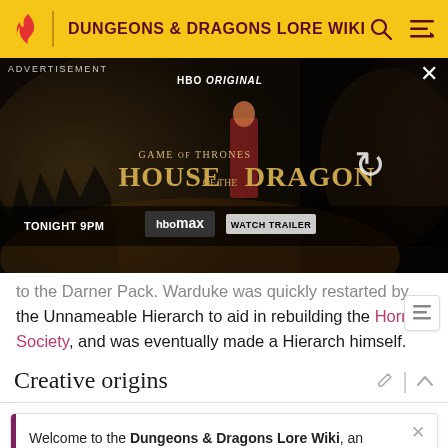DUNGEONS & DRAGONS LORE WIKI
[Figure (screenshot): HBO Max advertisement for House of the Dragon, Game of Thrones spinoff. Shows a woman in red dress against a dark dragon background. Text: GAME OF THRONES HOUSE OF THE DRAGON TONIGHT 9PM HBOMAX WATCH TRAILER]
to the Darner Pack. Warduke was quickly restarted by the Unnameable Hierarch to aid in rebuilding the Horned Society, and was eventually made a Hierarch himself.
Creative origins
Welcome to the Dungeons & Dragons Lore Wiki, an encyclopedia of official first-party D&D canon from 1974 to the current day.
We need editors! See the editing guidelines for ways to